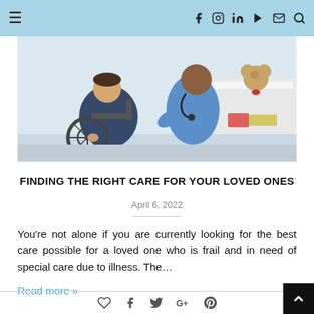Navigation and social icons header bar
[Figure (photo): A nurse in blue scrubs crouching beside a child in a wheelchair, a stethoscope around the nurse's neck. A teddy bear and papers visible in the background.]
FINDING THE RIGHT CARE FOR YOUR LOVED ONES
April 6, 2022
You're not alone if you are currently looking for the best care possible for a loved one who is frail and in need of special care due to illness. The…
Read more »
Social share icons: heart, facebook, twitter, google+, pinterest